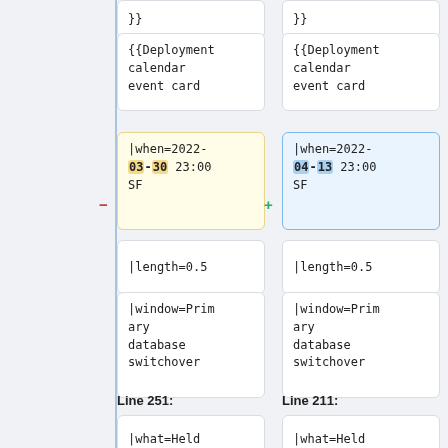}}
}}
{{Deployment calendar event card
{{Deployment calendar event card
|when=2022-03-30 23:00 SF (highlighted 03-30)
|when=2022-04-13 23:00 SF (highlighted 04-13)
|length=0.5
|length=0.5
|window=Primary database switchover
|window=Primary database switchover
Line 251:
Line 211:
|what=Held
|what=Held